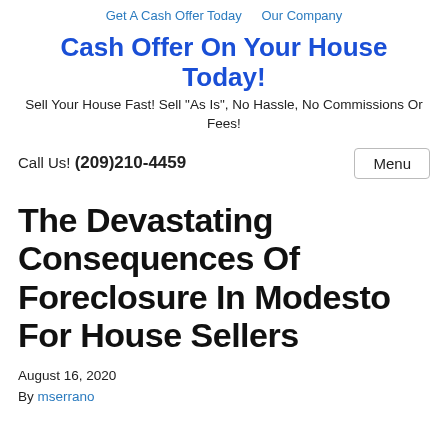Get A Cash Offer Today   Our Company
Cash Offer On Your House Today!
Sell Your House Fast! Sell "As Is", No Hassle, No Commissions Or Fees!
Call Us! (209)210-4459
The Devastating Consequences Of Foreclosure In Modesto For House Sellers
August 16, 2020
By mserrano